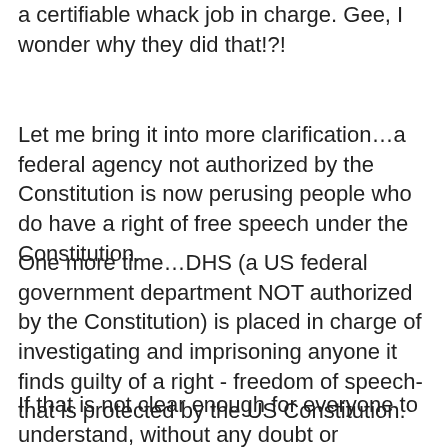a certifiable whack job in charge. Gee, I wonder why they did that!?!
Let me bring it into more clarification…a federal agency not authorized by the Constitution is now perusing people who do have a right of free speech under the Constitution.
One more time…DHS (a US federal government department NOT authorized by the Constitution) is placed in charge of investigating and imprisoning anyone it finds guilty of a right - freedom of speech- that is protected by the US Constitution.
If that is not clear enough for everyone to understand, without any doubt or question, the US federal government is currently implementing